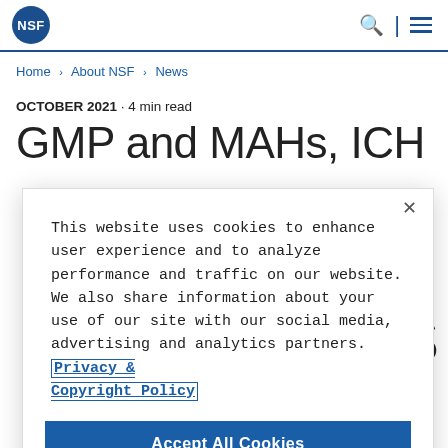NSF logo, search icon, menu icon
Home > About NSF > News
OCTOBER 2021 · 4 min read
GMP and MAHs, ICH
This website uses cookies to enhance user experience and to analyze performance and traffic on our website. We also share information about your use of our site with our social media, advertising and analytics partners. Privacy & Copyright Policy
Accept All Cookies
Cookies Settings